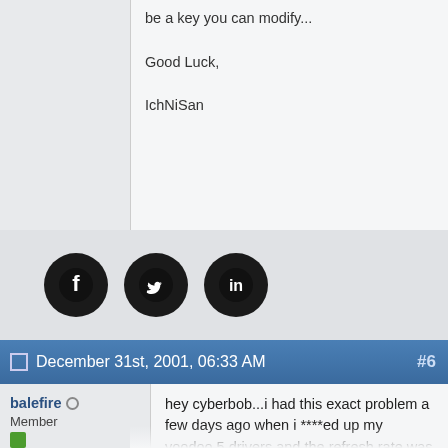be a key you can modify...

Good Luck,

IchNiSan
[Figure (other): Social share icons: Facebook, Twitter, LinkedIn]
December 31st, 2001, 06:33 AM  #6
balefire
Member
Join Date: Oct 2001
Posts: 38
hey cyberbob...i had this exact problem a few days ago when i ****ed up my voodoo 5 drivers and the refresh rate was set too high...I booted into safe mode then changed my refresh rate, but the default was <unknown> and i changed it to adapter default, but it didnt work. I also got my other 17" monitor (was using 15) because it supports higher refresh rates, but still no luck.

got the latest drivers for...